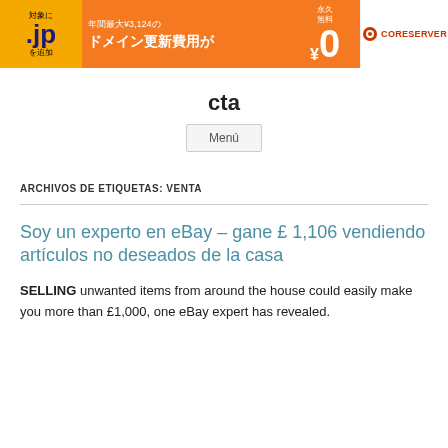[Figure (other): Orange banner advertisement for CoreServer .jp domain renewal. Japanese text: 対象に .jp を追加, 年間最大¥3,124の ドメイン更新費用が, 永久無料 ¥0, with CoreServer logo on the right.]
cta
Menú
ARCHIVOS DE ETIQUETAS: VENTA
Soy un experto en eBay – gane £ 1,106 vendiendo artículos no deseados de la casa
SELLING unwanted items from around the house could easily make you more than £1,000, one eBay expert has revealed.